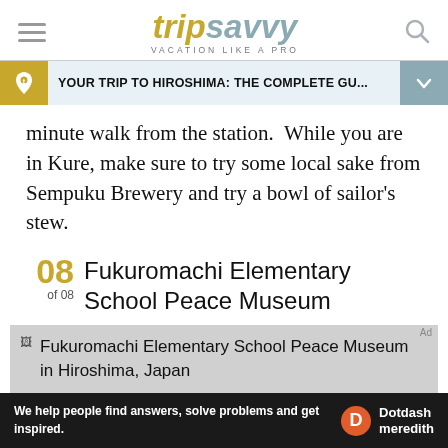tripsavvy VACATION LIKE A PRO
YOUR TRIP TO HIROSHIMA: THE COMPLETE GU...
minute walk from the station.  While you are in Kure, make sure to try some local sake from Sempuku Brewery and try a bowl of sailor's stew.
08 of 08  Fukuromachi Elementary School Peace Museum
[Figure (photo): Fukuromachi Elementary School Peace Museum in Hiroshima, Japan — image placeholder with caption]
Fukuromachi Elementary School Peace Museum in Hiroshima, Japan